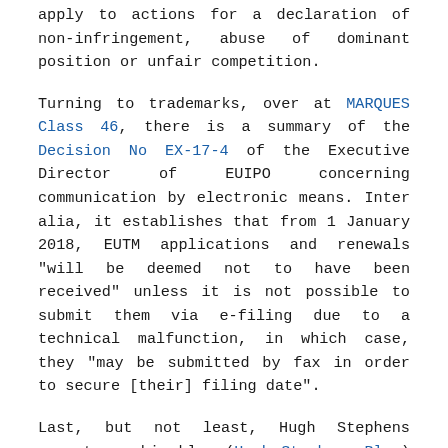apply to actions for a declaration of non-infringement, abuse of dominant position or unfair competition.
Turning to trademarks, over at MARQUES Class 46, there is a summary of the Decision No EX-17-4 of the Executive Director of EUIPO concerning communication by electronic means. Inter alia, it establishes that from 1 January 2018, EUTM applications and renewals "will be deemed not to have been received" unless it is not possible to submit them via e-filing due to a technical malfunction, in which case, they "may be submitted by fax in order to secure [their] filing date".
Last, but not least, Hugh Stephens reports on his blog (Hugh Stephens Blog) how harmful are the Remote Access Trojans (RATs), which are sometimes embedded in websites offering pirated goods. Once such malware (malicious software) is installed on a computer, it takes control over it, so the RAT intruder has access to recording functions, can delete files and activate the webcam, among other activities. According to the Asia